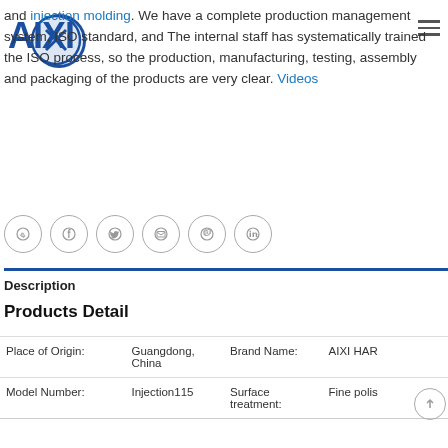and injection molding. We have a complete production management system, ISO standard, and The internal staff has systematically trained the ISO process, so the production, manufacturing, testing, assembly and packaging of the products are very clear. Videos
[Figure (logo): AIXI logo with circular emblem]
[Figure (other): Hamburger menu icon (three horizontal lines)]
[Figure (other): Social media icons row: WhatsApp, Facebook, Twitter, Email, Pinterest, LinkedIn — circular outline icons]
Description
Products Detail
| Place of Origin: | Guangdong, China | Brand Name: | AIXI HAR |
| --- | --- | --- | --- |
| Place of Origin: | Guangdong, China | Brand Name: | AIXI HAR |
| Model Number: | Injection115 | Surface treatment: | Fine polis |